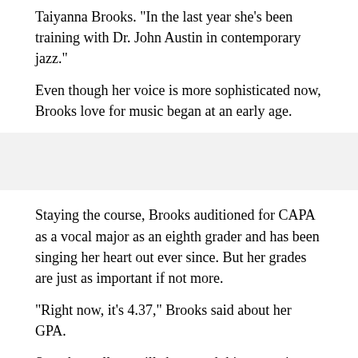Taiyanna Brooks. "In the last year she's been training with Dr. John Austin in contemporary jazz."
Even though her voice is more sophisticated now, Brooks love for music began at an early age.
Staying the course, Brooks auditioned for CAPA as a vocal major as an eighth grader and has been singing her heart out ever since. But her grades are just as important if not more.
"Right now, it's 4.37," Brooks said about her GPA.
So, what college will she attend this upcoming fall? You may have guessed by looking at her T-shirt.